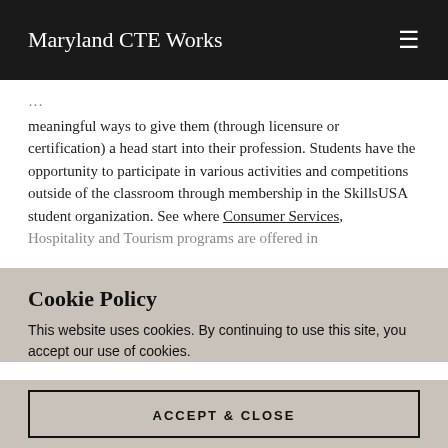Maryland CTE Works
meaningful ways to give them (through licensure or certification) a head start into their profession. Students have the opportunity to participate in various activities and competitions outside of the classroom through membership in the SkillsUSA student organization. See where Consumer Services, Hospitality, and Tourism programs are offered in
Cookie Policy
This website uses cookies. By continuing to use this site, you accept our use of cookies.
ACCEPT & CLOSE